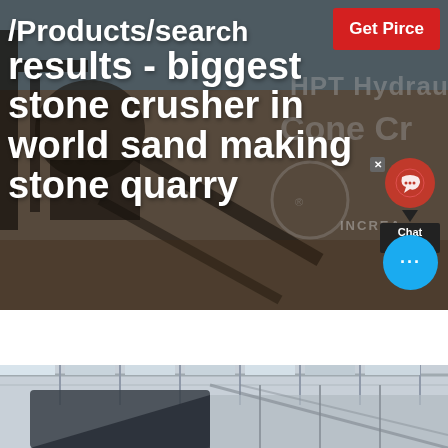[Figure (photo): Hero banner showing industrial stone crusher machinery at a quarry site, with heavy equipment and conveyors visible against a sky background. Large white bold text overlaid reads the page title/breadcrumb.]
/Products/search results - biggest stone crusher in world sand making stone quarry
[Figure (screenshot): Get Pirce (sic) red button overlay in top right corner of the hero image]
[Figure (screenshot): Chat widget with headphone icon and 'Chat Now' label, and a cyan chat bubble icon at bottom right]
[Figure (photo): Bottom partial photo showing interior of an industrial facility or workshop with roof trusses and large equipment visible]